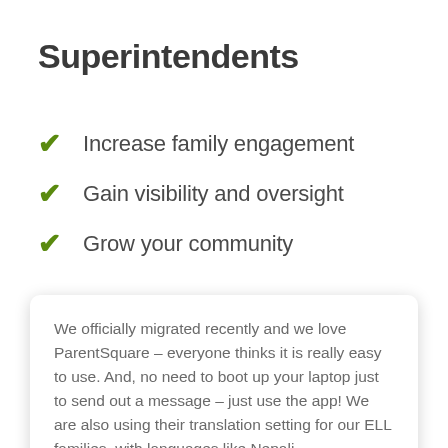Superintendents
Increase family engagement
Gain visibility and oversight
Grow your community
We officially migrated recently and we love ParentSquare – everyone thinks it is really easy to use. And, no need to boot up your laptop just to send out a message – just use the app! We are also using their translation setting for our ELL families, with languages like Nepali, Kinyarwanda, and Swahili, and a local translator